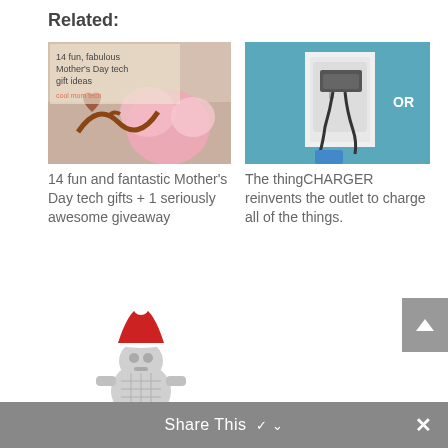Related:
[Figure (photo): Photo of decorative charging cable in heart shape with pink flower, overlay text '14 fun, fabulous Mother's Day tech gift ideas']
14 fun and fantastic Mother's Day tech gifts + 1 seriously awesome giveaway
[Figure (photo): Photo of thingCHARGER device plugged into wall outlet with cables charging devices on teal background, text 'OR']
The thingCHARGER reinvents the outlet to charge all of the things.
[Figure (photo): Photo of small silver robot figure wearing a red Santa hat]
28 seriously cool tech stocking stuffers for everyone on your list | Holiday Tech Guide 2016
Share This ∨  ×